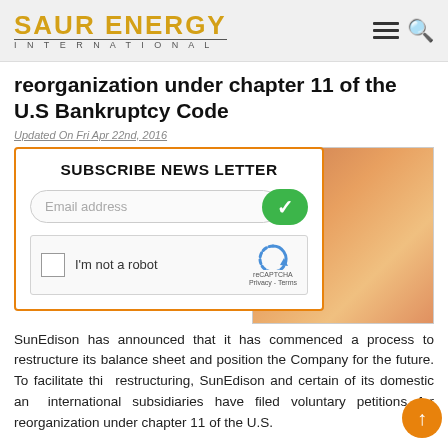SAUR ENERGY INTERNATIONAL
reorganization under chapter 11 of the U.S Bankruptcy Code
Updated On Fri Apr 22nd, 2016
[Figure (screenshot): Newsletter subscription modal with email input field, green checkmark submit button, and reCAPTCHA checkbox. Title reads SUBSCRIBE NEWS LETTER. Background shows a partial image.]
SunEdison has announced that it has commenced a process to restructure its balance sheet and position the Company for the future. To facilitate this restructuring, SunEdison and certain of its domestic and international subsidiaries have filed voluntary petitions for reorganization under chapter 11 of the U.S.